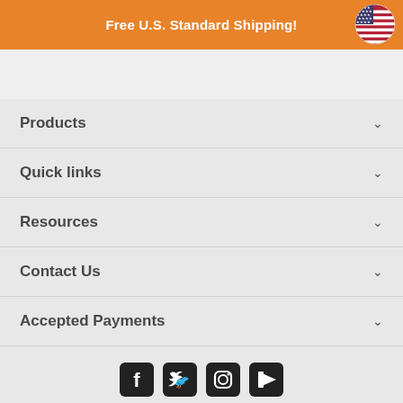Free U.S. Standard Shipping!
Products
Quick links
Resources
Contact Us
Accepted Payments
[Figure (illustration): Social media icons: Facebook, Twitter, Instagram, YouTube]